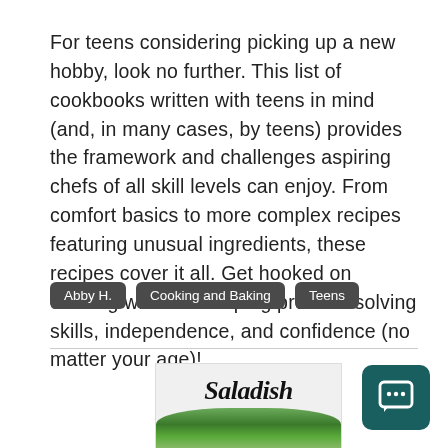For teens considering picking up a new hobby, look no further. This list of cookbooks written with teens in mind (and, in many cases, by teens) provides the framework and challenges aspiring chefs of all skill levels can enjoy. From comfort basics to more complex recipes featuring unusual ingredients, these recipes cover it all. Get hooked on cooking while developing problem solving skills, independence, and confidence (no matter your age)!
Abby H.
Cooking and Baking
Teens
[Figure (illustration): Book cover showing the title 'Saladish' in bold italic text above an image of mixed salad greens and vegetables.]